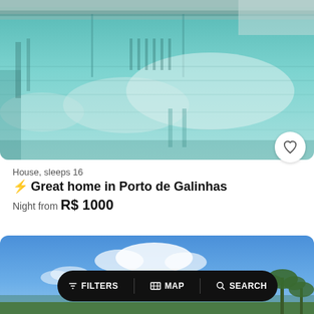[Figure (photo): Aerial/close-up view of a swimming pool with blue-green water, showing reflections and pool edge tiles]
House, sleeps 16
⚡ Great home in Porto de Galinhas
Night from R$ 1000
[Figure (photo): Outdoor beach/tropical scene with blue sky, white clouds, and palm trees visible at bottom right]
FILTERS   MAP   SEARCH